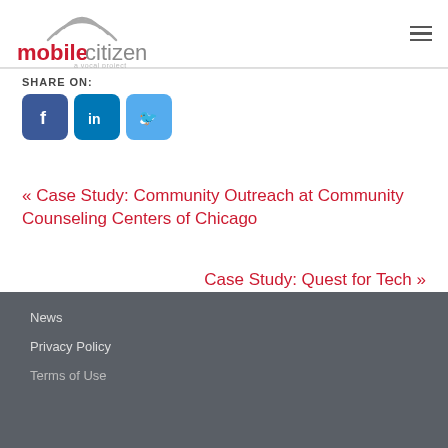mobile citizen — a vocal project
SHARE ON:
[Figure (logo): Social share buttons: Facebook, LinkedIn, Twitter]
« Case Study: Community Outreach at Community Counseling Centers of Chicago
Case Study: Quest for Tech »
News | Privacy Policy | Terms of Use